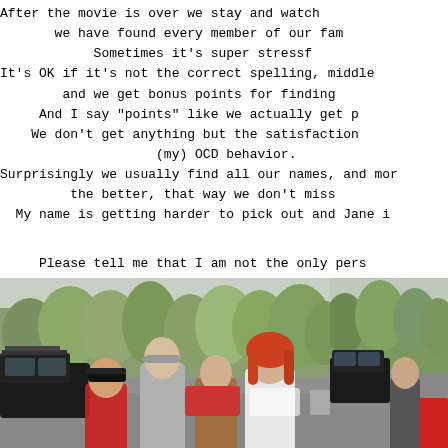After the movie is over we stay and watch
we have found every member of our fam
Sometimes it's super stressf
It's OK if it's not the correct spelling, middle
and we get bonus points for finding
And I say "points" like we actually get p
We don't get anything but the satisfaction
(my) OCD behavior.
Surprisingly we usually find all our names, and mor
the better, that way we don't miss
My name is getting harder to pick out and Jane i
Please tell me that I am not the only pers
[Figure (photo): Family group photo in a parking lot with trees in background, autumn foliage]
[Figure (photo): Partial photo on right side, parking lot with car, autumn trees]